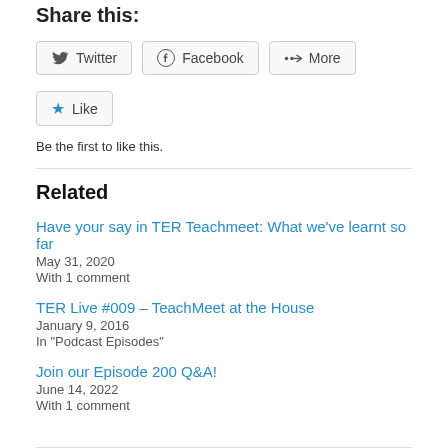Share this:
[Figure (other): Share buttons: Twitter, Facebook, More]
[Figure (other): Like button with star icon]
Be the first to like this.
Related
Have your say in TER Teachmeet: What we've learnt so far
May 31, 2020
With 1 comment
TER Live #009 – TeachMeet at the House
January 9, 2016
In "Podcast Episodes"
Join our Episode 200 Q&A!
June 14, 2022
With 1 comment